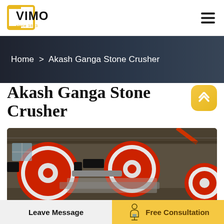[Figure (logo): VIMO logo with yellow bracket frame, text 'VIMO' in black and yellow, 'since 1863' in yellow below]
Home > Akash Ganga Stone Crusher
Akash Ganga Stone Crusher
[Figure (photo): Industrial photo of stone crusher machine with large red and white flywheel pulleys with black belts in a factory warehouse setting]
Leave Message
Free Consultation